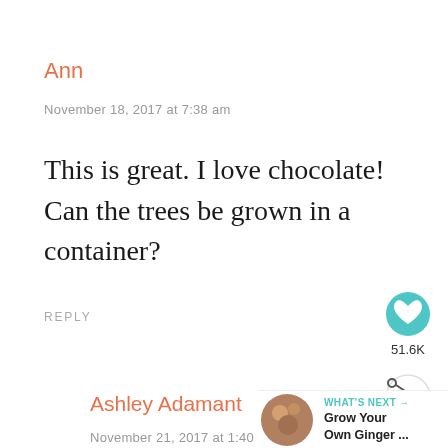Ann
November 18, 2017 at 7:38 am
This is great. I love chocolate! Can the trees be grown in a container?
REPLY
[Figure (infographic): Heart/like button (teal circle with white heart icon) showing count 51.6K and a share button below]
Ashley Adamant
November 21, 2017 at 1:40 am
[Figure (infographic): What's Next panel with circular thumbnail image and text: WHAT'S NEXT → Grow Your Own Ginger ...]